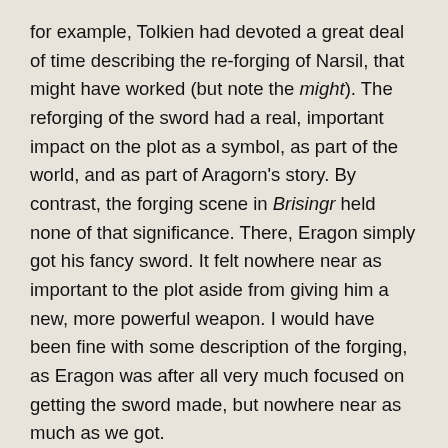for example, Tolkien had devoted a great deal of time describing the re-forging of Narsil, that might have worked (but note the might). The reforging of the sword had a real, important impact on the plot as a symbol, as part of the world, and as part of Aragorn's story. By contrast, the forging scene in Brisingr held none of that significance. There, Eragon simply got his fancy sword. It felt nowhere near as important to the plot aside from giving him a new, more powerful weapon. I would have been fine with some description of the forging, as Eragon was after all very much focused on getting the sword made, but nowhere near as much as we got.
Another potential way to use the knowledge we obtain in a more interesting way (though this is more geared toward the bow-making that prompted me to start thinking about this) is to use it to show passage of time. For instance, the act of making the bow is at least somewhere in the area of 30 hours of work, which will realistically be done over the course of days, if not weeks. I could